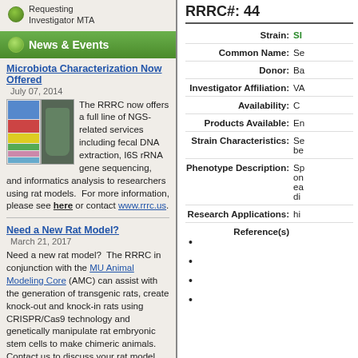Requesting Investigator MTA
News & Events
Microbiota Characterization Now Offered
July 07, 2014
The RRRC now offers a full line of NGS-related services including fecal DNA extraction, I6S rRNA gene sequencing, and informatics analysis to researchers using rat models.  For more information, please see here or contact www.rrrc.us.
Need a New Rat Model?
March 21, 2017
Need a new rat model?  The RRRC in conjunction with the MU Animal Modeling Core (AMC) can assist with the generation of transgenic rats, create knock-out and knock-in rats using CRISPR/Cas9 technology and genetically manipulate rat embryonic stem cells to make chimeric animals.  Contact us to discuss your rat model needs and how we can help.
RRRC at American Society of Human Genetics
October 16, 2017
Stop by Booth 949 (Research Resources in Metagenomics and Animal Models) in the Exhibitor Hall
RRRC#: 44
| Field | Value |
| --- | --- |
| Strain: | SI... |
| Common Name: | Se... |
| Donor: | Ba... |
| Investigator Affiliation: | VA... |
| Availability: | C... |
| Products Available: | En... |
| Strain Characteristics: | Se... be... |
| Phenotype Description: | Sp... on... ea... di... |
| Research Applications: | hi... |
| Reference(s) | • • • • |